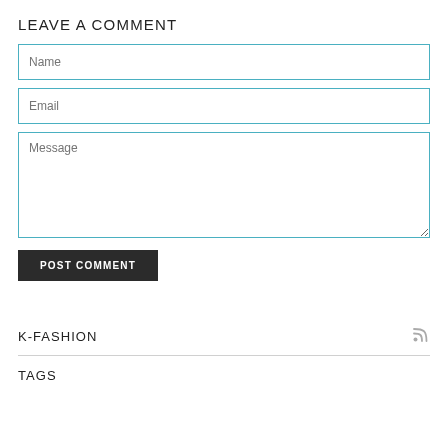LEAVE A COMMENT
Name
Email
Message
POST COMMENT
K-FASHION
TAGS